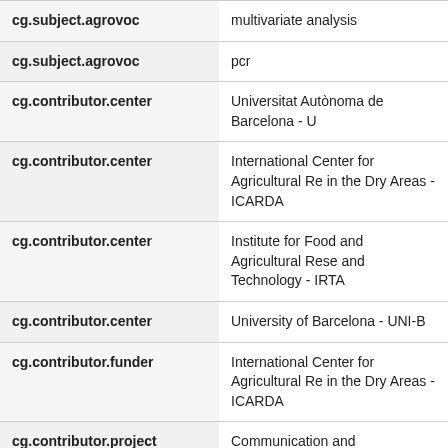| Field | Value |
| --- | --- |
| cg.subject.agrovoc | multivariate analysis |
| cg.subject.agrovoc | pcr |
| cg.contributor.center | Universitat Autònoma de Barcelona - U |
| cg.contributor.center | International Center for Agricultural Re in the Dry Areas - ICARDA |
| cg.contributor.center | Institute for Food and Agricultural Rese and Technology - IRTA |
| cg.contributor.center | University of Barcelona - UNI-B |
| cg.contributor.funder | International Center for Agricultural Re in the Dry Areas - ICARDA |
| cg.contributor.project | Communication and Documentation Information Services (CODIS) |
| cg.contributor.project-lead-institute | International Center for Agricultural Re in the Dry Areas - ICARDA |
| cg.date.embargo-end- | Timeless |